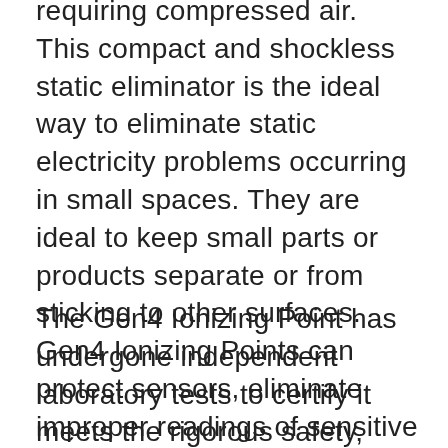requiring compressed air. This compact and shockless static eliminator is the ideal way to eliminate static electricity problems occurring in small spaces. They are ideal to keep small parts or products separate or from sticking to other surfaces. Gen4 Ionizing Points can protect sensors, eliminate improper readings of sensitive electronics, keep powder filling nozzles clear of clogs and prevent jamming, tearing or dust attraction on slitting, winding, rewinding, ink jetting and silk screening applications.
The Gen4 Ionizing Point has undergone independent laboratory tests to certify it meets the rigorous safety, health and environmental standards of the USA, European Union and Canada that are required